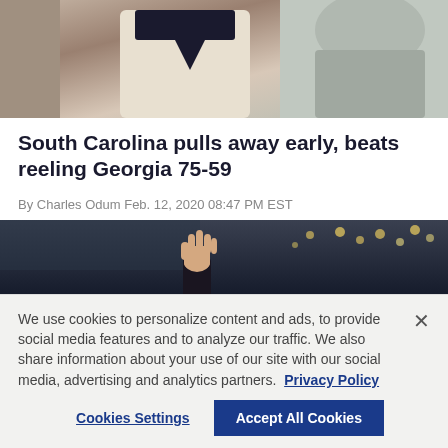[Figure (photo): Close-up photo of basketball players/coaches, person in gray hoodie and another in white jersey visible]
South Carolina pulls away early, beats reeling Georgia 75-59
By Charles Odum Feb. 12, 2020 08:47 PM EST
[Figure (photo): Person raising hand in a dark arena with arena lights in the background]
We use cookies to personalize content and ads, to provide social media features and to analyze our traffic. We also share information about your use of our site with our social media, advertising and analytics partners. Privacy Policy
Cookies Settings | Accept All Cookies